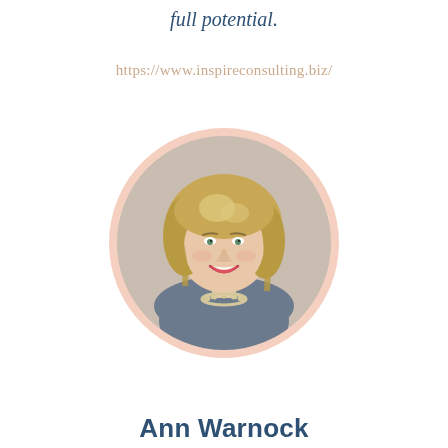full potential.
https://www.inspireconsulting.biz/
[Figure (photo): Circular portrait photo of Ann Warnock, a woman with blonde shoulder-length hair, smiling, wearing a grey top and pearl necklace, set inside a peach/salmon circular frame.]
Ann Warnock